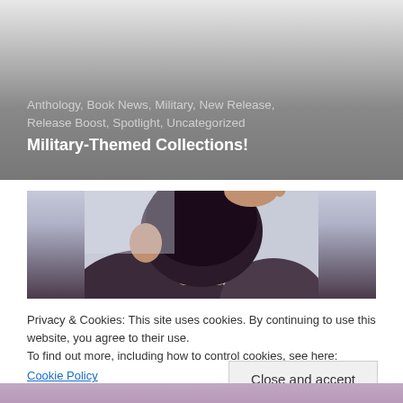Anthology, Book News, Military, New Release, Release Boost, Spotlight, Uncategorized
Military-Themed Collections!
[Figure (photo): Close-up photo of a person with short dark hair, seen from behind/side, hand touching head, against a light background]
Privacy & Cookies: This site uses cookies. By continuing to use this website, you agree to their use.
To find out more, including how to control cookies, see here:
Cookie Policy
Close and accept